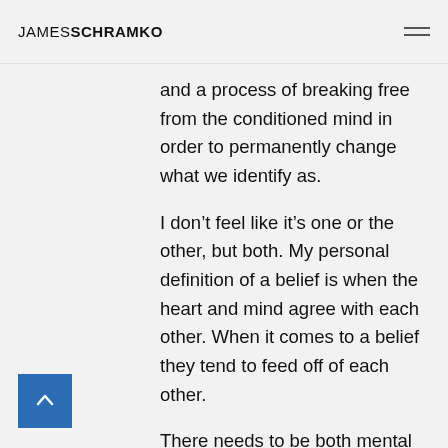JAMES SCHRAMKO
and a process of breaking free from the conditioned mind in order to permanently change what we identify as.
I don’t feel like it’s one or the other, but both. My personal definition of a belief is when the heart and mind agree with each other. When it comes to a belief they tend to feed off of each other.
There needs to be both mental and emotional work for